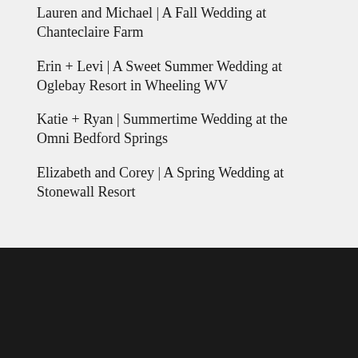Lauren and Michael | A Fall Wedding at Chanteclaire Farm
Erin + Levi | A Sweet Summer Wedding at Oglebay Resort in Wheeling WV
Katie + Ryan | Summertime Wedding at the Omni Bedford Springs
Elizabeth and Corey | A Spring Wedding at Stonewall Resort